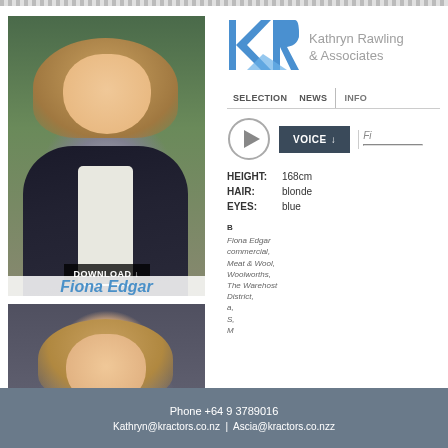[Figure (photo): Headshot of Fiona Edgar, woman with blonde hair wearing dark blazer and white shirt, outdoor greenery background]
[Figure (logo): KR logo for Kathryn Rawling & Associates talent agency]
Kathryn Rawling & Associates
SELECTIONNEWS | INFO
VOICE ↓
Fi
HEIGHT: 168cm
HAIR: blonde
EYES: blue
B
Fiona Edgar credits: commercial, Meat & Wool, Woolworths, The Warehost District, a, S, M
[Figure (photo): Second headshot of Fiona Edgar, woman with light blonde hair, neutral expression, dark background]
Phone +64 9 3789016
Kathryn@kractors.co.nz | Ascia@kractors.co.nzz